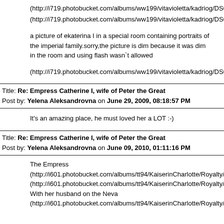(http://i719.photobucket.com/albums/ww199/vitavioletta/kadriog/DSCN1
(http://i719.photobucket.com/albums/ww199/vitavioletta/kadriog/DSCN1
a picture of ekaterina I in a special room containing portraits of the imperial family.sorry,the picture is dim because it was dim in the room and using flash wasn`t allowed
(http://i719.photobucket.com/albums/ww199/vitavioletta/kadriog/DSCN1
Title: Re: Empress Catherine I, wife of Peter the Great
Post by: Yelena Aleksandrovna on June 29, 2009, 08:18:57 PM
It's an amazing place, he must loved her a LOT :-)
Title: Re: Empress Catherine I, wife of Peter the Great
Post by: Yelena Aleksandrovna on June 09, 2010, 01:11:16 PM
The Empress
(http://i601.photobucket.com/albums/tt94/KaiserinCharlotte/Royalty/Ekat
(http://i601.photobucket.com/albums/tt94/KaiserinCharlotte/Royalty/Emp
With her husband on the Neva
(http://i601.photobucket.com/albums/tt94/KaiserinCharlotte/Royalty/Neva